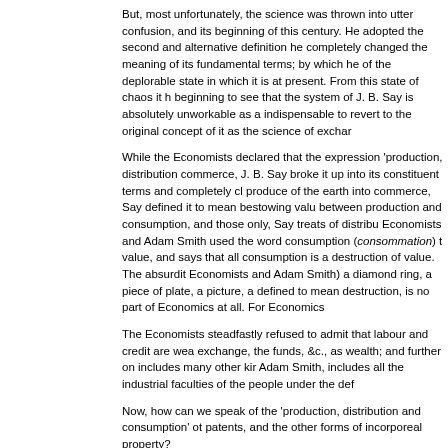But, most unfortunately, the science was thrown into utter confusion, and its beginning of this century. He adopted the second and alternative definition he completely changed the meaning of its fundamental terms; by which he of the deplorable state in which it is at present. From this state of chaos it h beginning to see that the system of J. B. Say is absolutely unworkable as a indispensable to revert to the original concept of it as the science of exchar
While the Economists declared that the expression 'production, distribution commerce, J. B. Say broke it up into its constituent terms and completely cl produce of the earth into commerce, Say defined it to mean bestowing valu between production and consumption, and those only, Say treats of distribu Economists and Adam Smith used the word consumption (consommation) t value, and says that all consumption is a destruction of value. The absurdit Economists and Adam Smith) a diamond ring, a piece of plate, a picture, a defined to mean destruction, is no part of Economics at all. For Economics
The Economists steadfastly refused to admit that labour and credit are wea exchange, the funds, &c., as wealth; and further on includes many other kir Adam Smith, includes all the industrial faculties of the people under the def
Now, how can we speak of the 'production, distribution and consumption' ot patents, and the other forms of incorporeal property?
How can we speak of the 'production, distribution and consumption' of labo
Whereas we speak of the supply and demand, and the value of all these th mercantile credit—the colossal system of banking—and the foreign exchan mechanism and phenomena be explained under the expression the 'produc
This separation of the component terms of the expression 'production, distr character of Economics as a science, and utterly breaks the back of the the
Say's books abound in valuable observations, but his system of Economics